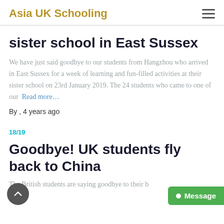Asia UK Schooling
sister school in East Sussex
We have just said goodbye to our students from Hangzhou who arrived in East Sussex for a week of learning and fun-filled activities at their sister school on 23rd January 2019. The 24 students who came to one of our Read more…
By , 4 years ago
18/19
Goodbye! UK students fly back to China
The British students are saying goodbye to their b…